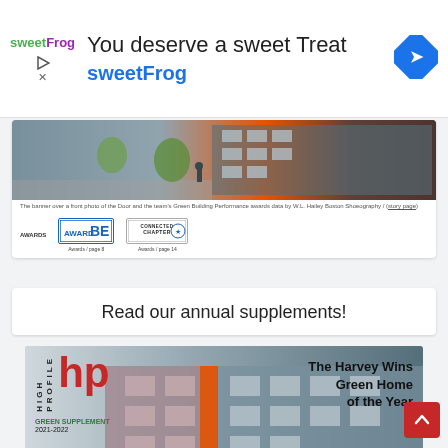[Figure (screenshot): sweetFrog advertisement banner with logo, headline 'You deserve a sweet Treat', brand name 'sweetFrog', and navigation diamond icon]
[Figure (photo): Exterior photo of a modern commercial building with trees and a pedestrian walking]
The banner over a front photo of the Door and the team's Green Building Performance awards data by W.L. Hailey Boston Shoeography / (story page )
[Figure (logo): BE award logo and Connecticut Chapter award logo with awards page references]
Read our annual supplements!
[Figure (photo): High Profile Green Supplement 2021-2022 cover featuring a modern multi-story residential building with text 'The Harvey Wins Green Home of the Year']